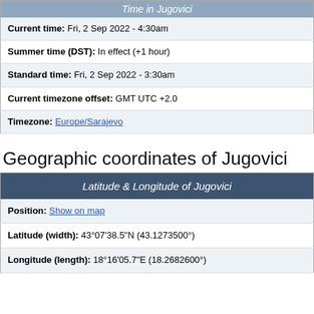Time in Jugovici
| Current time: Fri, 2 Sep 2022 - 4:30am |
| Summer time (DST): In effect (+1 hour) |
| Standard time: Fri, 2 Sep 2022 - 3:30am |
| Current timezone offset: GMT UTC +2.0 |
| Timezone: Europe/Sarajevo |
Geographic coordinates of Jugovici
Latitude & Longitude of Jugovici
| Position: Show on map |
| Latitude (width): 43°07'38.5"N (43.1273500°) |
| Longitude (length): 18°16'05.7"E (18.2682600°) |